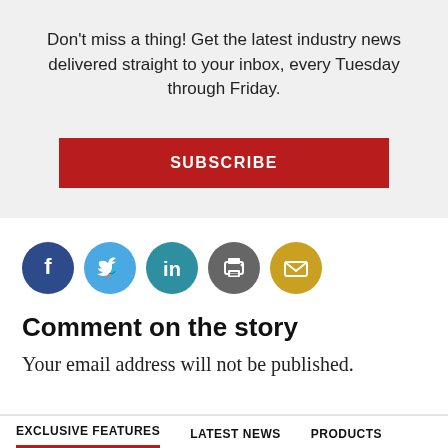Don't miss a thing! Get the latest industry news delivered straight to your inbox, every Tuesday through Friday.
[Figure (other): Red SUBSCRIBE button]
[Figure (infographic): Row of social media icon circles: Facebook (dark blue), Twitter (light blue), LinkedIn (teal/blue), Print (gray), Email (gold/yellow)]
Comment on the story
Your email address will not be published.
EXCLUSIVE FEATURES   LATEST NEWS   PRODUCTS